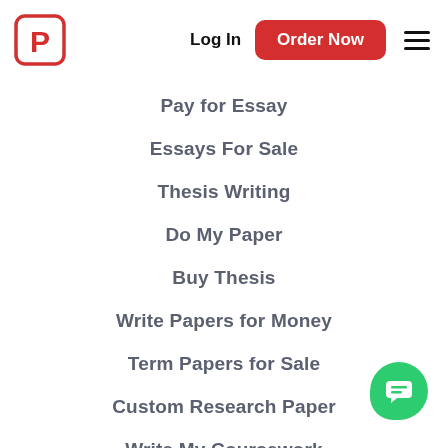[Figure (logo): Red square with rounded corners containing white letter P, Paperial/essay writing service logo]
Log In
Order Now
Pay for Essay
Essays For Sale
Thesis Writing
Do My Paper
Buy Thesis
Write Papers for Money
Term Papers for Sale
Custom Research Paper
Write My Coursework
Buy an Annotated Bibliography
Write My Research Paper for Me